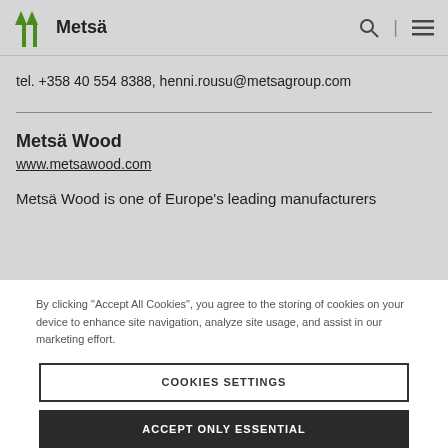Metsä [logo with navigation icons]
tel. +358 40 554 8388, henni.rousu@metsagroup.com
Metsä Wood
www.metsawood.com
Metsä Wood is one of Europe's leading manufacturers
By clicking "Accept All Cookies", you agree to the storing of cookies on your device to enhance site navigation, analyze site usage, and assist in our marketing effort.
COOKIES SETTINGS
ACCEPT ONLY ESSENTIAL